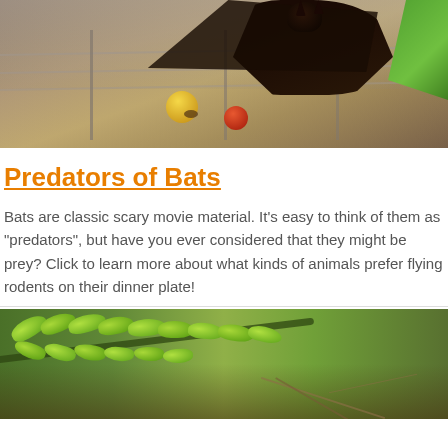[Figure (photo): A bat hanging upside down near a wire fence with fruit, blurred colorful background with red and yellow fruits visible]
Predators of Bats
Bats are classic scary movie material. It's easy to think of them as "predators", but have you ever considered that they might be prey? Click to learn more about what kinds of animals prefer flying rodents on their dinner plate!
[Figure (photo): Close-up of a green leafy fern or compound leaf branch against a blurred brown ground background]